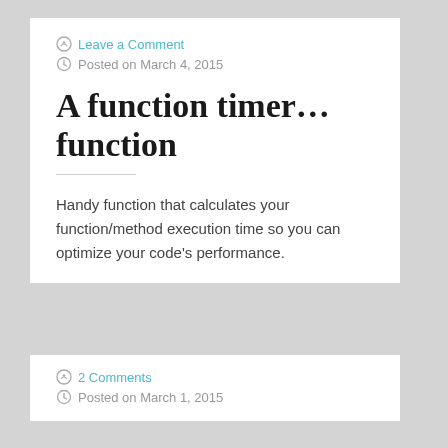Leave a Comment
Posted on March 4, 2015
A function timer… function
Handy function that calculates your function/method execution time so you can optimize your code's performance.
2 Comments
Posted on March 1, 2015